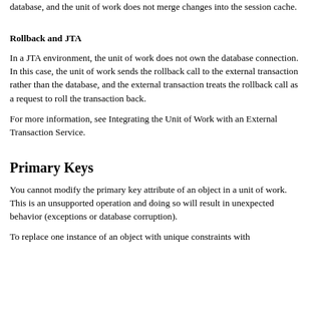database, and the unit of work does not merge changes into the session cache.
Rollback and JTA
In a JTA environment, the unit of work does not own the database connection. In this case, the unit of work sends the rollback call to the external transaction rather than the database, and the external transaction treats the rollback call as a request to roll the transaction back.
For more information, see Integrating the Unit of Work with an External Transaction Service.
Primary Keys
You cannot modify the primary key attribute of an object in a unit of work. This is an unsupported operation and doing so will result in unexpected behavior (exceptions or database corruption).
To replace one instance of an object with unique constraints with